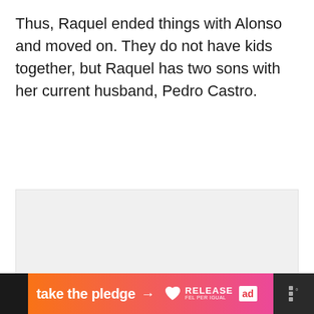Thus, Raquel ended things with Alonso and moved on. They do not have kids together, but Raquel has two sons with her current husband, Pedro Castro.
[Figure (other): Light gray placeholder image area]
[Figure (infographic): Advertisement banner: 'take the pledge' with arrow, Release logo with heart icon, ed box logo, and dots/degree symbol icon on dark background]